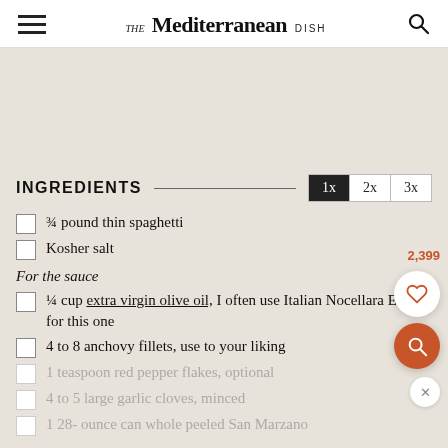THE Mediterranean DISH
INGREDIENTS  1x  2x  3x
¾ pound thin spaghetti
Kosher salt
For the sauce
¼ cup extra virgin olive oil, I often use Italian Nocellara EVOO for this one
4 to 8 anchovy fillets, use to your liking
1 teaspoon red pepper flakes, optional
4 to 5 large garlic cloves, minced
1 28- ounce can whole peeled San Marzano